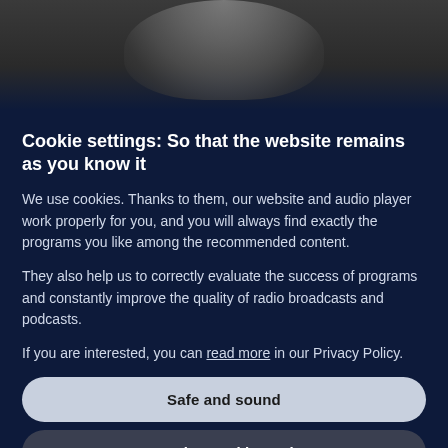[Figure (photo): Partial view of a person's face (close-up, dark tones) used as a background header image above a cookie consent modal dialog.]
Cookie settings: So that the website remains as you know it
We use cookies. Thanks to them, our website and audio player work properly for you, and you will always find exactly the programs you like among the recommended content.
They also help us to correctly evaluate the success of programs and constantly improve the quality of radio broadcasts and podcasts.
If you are interested, you can read more in our Privacy Policy.
Safe and sound
Customise cookie settings